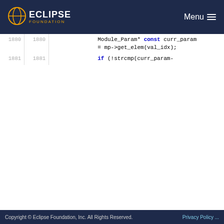ECLIPSE FOUNDATION  Menu
[Figure (screenshot): Code diff view showing C++ source code with line numbers, removed line (red background) and added line (green background). Lines 1871-1881 visible. Changes: value_used[val_idx]=true replaced with value_used[val_idx]=TRUE.]
Copyright © Eclipse Foundation, Inc. All Rights Reserved.   Privacy Policy ...